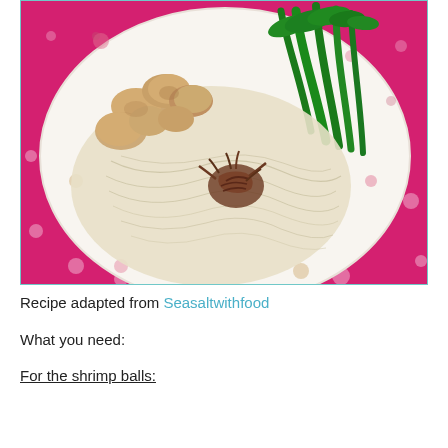[Figure (photo): A plate of glass noodles topped with shrimp balls and dark fried shallots or dried seafood, with bright green Chinese broccoli on the side, served on a white floral-patterned plate on a hot pink polka dot tablecloth.]
Recipe adapted from Seasaltwithfood
What you need:
For the shrimp balls: